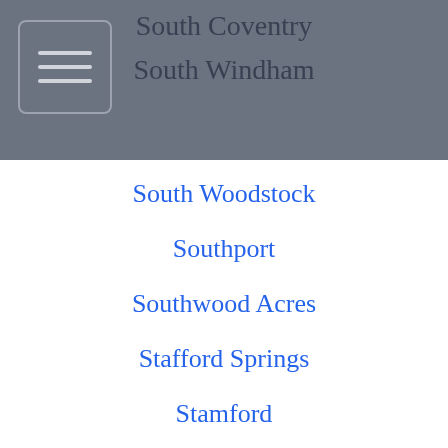South Coventry
South Windham
South Woodstock
Southport
Southwood Acres
Stafford Springs
Stamford
Stonington
Storrs
Suffield Depot